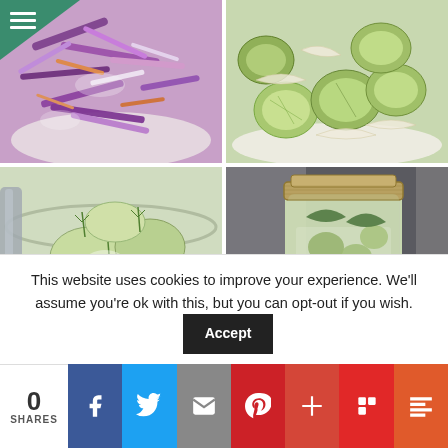[Figure (photo): 2x2 grid of food photos: top-left purple/red cabbage coleslaw in bowl, top-right sliced cucumbers and onions in bowl, bottom-left green herb salad in glass bowl with tongs, bottom-right mason jar filled with pickled cucumbers and greens]
This website uses cookies to improve your experience. We'll assume you're ok with this, but you can opt-out if you wish. Accept
0 SHARES | Facebook | Twitter | Email | Pinterest | G+ | Flipboard | Mix